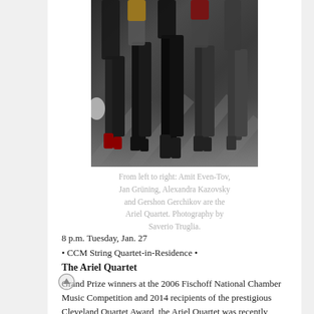[Figure (photo): Group photo showing legs and lower bodies of four people walking, taken from a low angle on a stone/concrete surface. One person wears distinctive red shoes.]
From left to right: Amit Even-Tov, Jan Grüning, Alexandra Kazovsky and Gershon Gerchikov are the Ariel Quartet. Photography by Saverio Truglia.
8 p.m. Tuesday, Jan. 27
• CCM String Quartet-in-Residence •
The Ariel Quartet
Grand Prize winners at the 2006 Fischoff National Chamber Music Competition and 2014 recipients of the prestigious Cleveland Quartet Award, the Ariel Quartet was recently